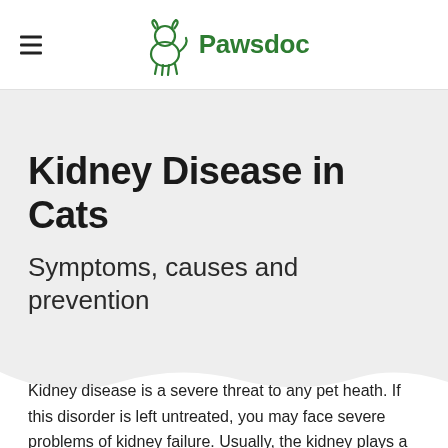Pawsdoc
Kidney Disease in Cats
Symptoms, causes and prevention
Kidney disease is a severe threat to any pet heath. If this disorder is left untreated, you may face severe problems of kidney failure. Usually, the kidney plays a vital role in